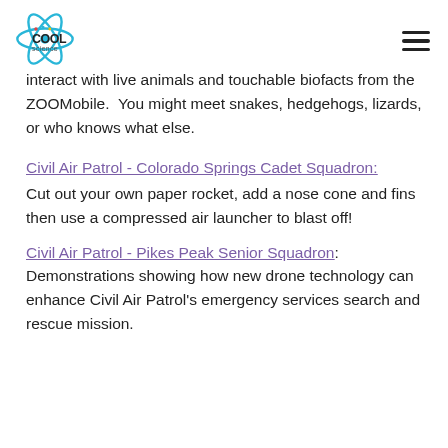Cool Science logo and navigation menu
interact with live animals and touchable biofacts from the ZOOMobile.  You might meet snakes, hedgehogs, lizards, or who knows what else.
Civil Air Patrol - Colorado Springs Cadet Squadron:
Cut out your own paper rocket, add a nose cone and fins then use a compressed air launcher to blast off!
Civil Air Patrol - Pikes Peak Senior Squadron:
Demonstrations showing how new drone technology can enhance Civil Air Patrol's emergency services search and rescue mission.